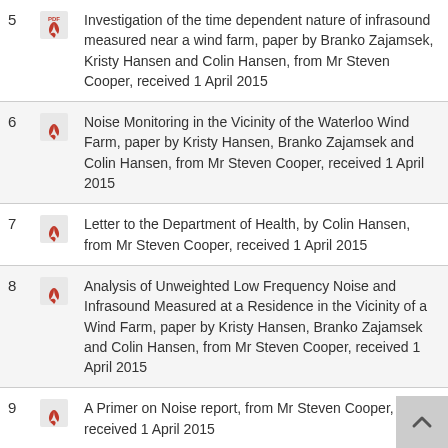5  Investigation of the time dependent nature of infrasound measured near a wind farm, paper by Branko Zajamsek, Kristy Hansen and Colin Hansen, from Mr Steven Cooper, received 1 April 2015
6  Noise Monitoring in the Vicinity of the Waterloo Wind Farm, paper by Kristy Hansen, Branko Zajamsek and Colin Hansen, from Mr Steven Cooper, received 1 April 2015
7  Letter to the Department of Health, by Colin Hansen, from Mr Steven Cooper, received 1 April 2015
8  Analysis of Unweighted Low Frequency Noise and Infrasound Measured at a Residence in the Vicinity of a Wind Farm, paper by Kristy Hansen, Branko Zajamsek and Colin Hansen, from Mr Steven Cooper, received 1 April 2015
9  A Primer on Noise report, from Mr Steven Cooper, received 1 April 2015